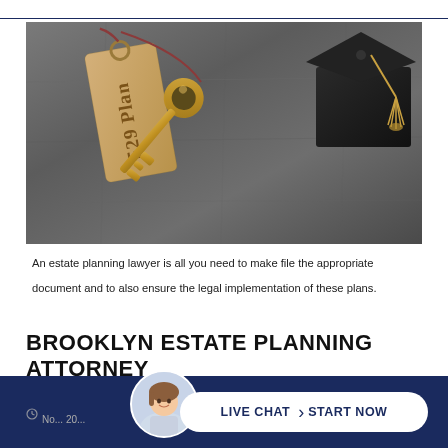[Figure (photo): Photo of a '529 Plan' kraft paper tag with a string, a gold vintage key, and a dark graduation cap with gold tassel on a gray concrete background]
An estate planning lawyer is all you need to make file the appropriate document and to also ensure the legal implementation of these plans.
BROOKLYN ESTATE PLANNING ATTORNEY
[Figure (photo): Live chat widget at bottom: dark blue background with a smiling woman avatar, and a white pill-shaped button reading 'LIVE CHAT > START NOW']